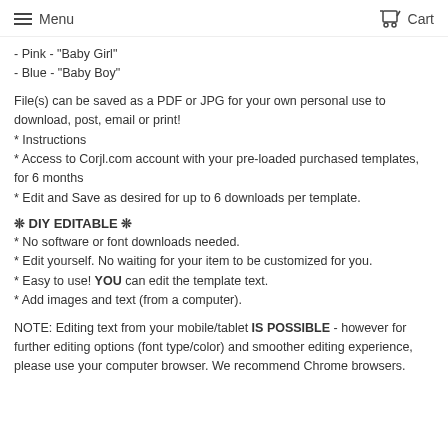Menu  Cart
- Pink - "Baby Girl"
- Blue - "Baby Boy"
File(s) can be saved as a PDF or JPG for your own personal use to download, post, email or print!
* Instructions
* Access to Corjl.com account with your pre-loaded purchased templates, for 6 months
* Edit and Save as desired for up to 6 downloads per template.
❊ DIY EDITABLE ❊
* No software or font downloads needed.
* Edit yourself. No waiting for your item to be customized for you.
* Easy to use! YOU can edit the template text.
* Add images and text (from a computer).
NOTE: Editing text from your mobile/tablet IS POSSIBLE - however for further editing options (font type/color) and smoother editing experience, please use your computer browser. We recommend Chrome browsers.